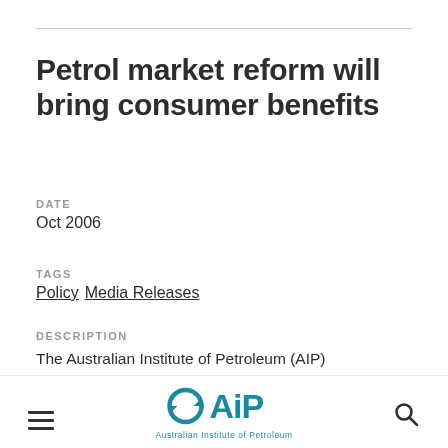Petrol market reform will bring consumer benefits
DATE
Oct 2006
TAGS
Policy Media Releases
DESCRIPTION
The Australian Institute of Petroleum (AIP) welcomes the passage through the Australian Parliament of the Petroleum Retail Legislation
Australian Institute of Petroleum